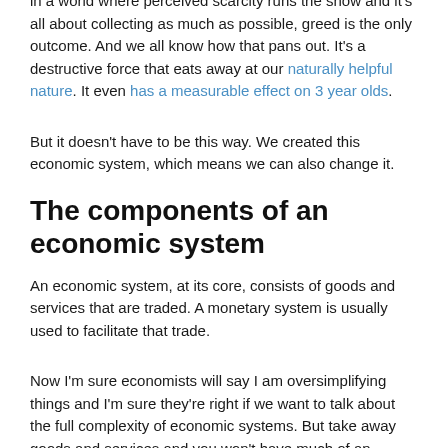in a world where perceived scarcity runs the show and it's all about collecting as much as possible, greed is the only outcome. And we all know how that pans out. It's a destructive force that eats away at our naturally helpful nature. It even has a measurable effect on 3 year olds.
But it doesn't have to be this way. We created this economic system, which means we can also change it.
The components of an economic system
An economic system, at its core, consists of goods and services that are traded. A monetary system is usually used to facilitate that trade.
Now I'm sure economists will say I am oversimplifying things and I'm sure they're right if we want to talk about the full complexity of economic systems. But take away goods and services and you won't have much of an economy left. The complexities of the economic system arise from the wants